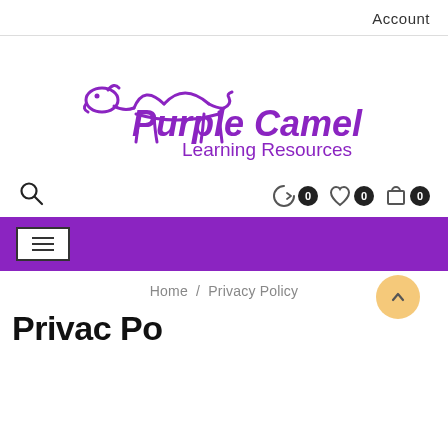Account
[Figure (logo): Purple Camel Learning Resources logo — purple camel illustration above the text 'Purple Camel' in large purple script, with 'Learning Resources' below in smaller purple text]
[Figure (infographic): Icon bar with search icon on left and cart/wishlist/compare icons with badge count 0 on right]
[Figure (infographic): Purple navigation bar with hamburger menu button]
Home / Privacy Policy
Privac Po...